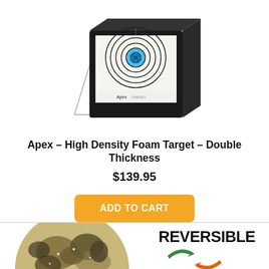[Figure (photo): Apex High Density Foam Target with wire stand, showing archery target face with blue center rings on black foam block]
Apex – High Density Foam Target – Double Thickness
$139.95
ADD TO CART
[Figure (photo): Camo-patterned spherical foam archery target (left) and Reversible logo with green and orange recycling arrows (right)]